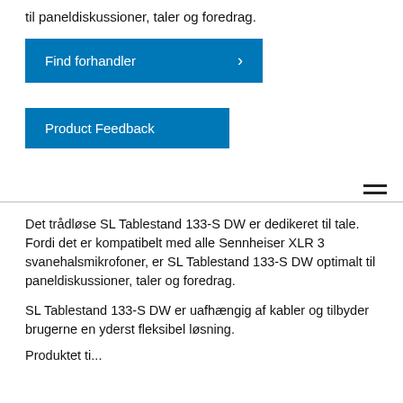til paneldiskussioner, taler og foredrag.
Find forhandler
Product Feedback
Det trådløse SL Tablestand 133-S DW er dedikeret til tale. Fordi det er kompatibelt med alle Sennheiser XLR 3 svanehalsmikrofoner, er SL Tablestand 133-S DW optimalt til paneldiskussioner, taler og foredrag.
SL Tablestand 133-S DW er uafhængig af kabler og tilbyder brugerne en yderst fleksibel løsning.
Produktet er en anden Sennheiser standardløsning...